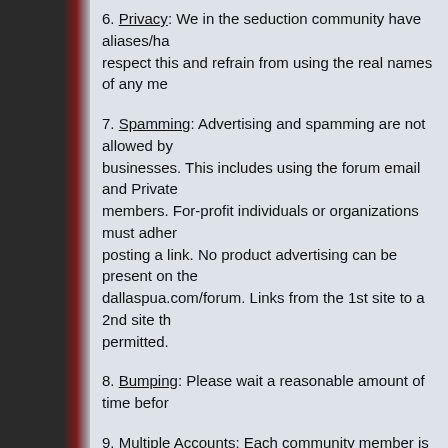6. Privacy: We in the seduction community have aliases/ha... respect this and refrain from using the real names of any me...
7. Spamming: Advertising and spamming are not allowed by... businesses. This includes using the forum email and Private... members. For-profit individuals or organizations must adher... posting a link. No product advertising can be present on the... dallaspua.com/forum. Links from the 1st site to a 2nd site th... permitted.
8. Bumping: Please wait a reasonable amount of time befor...
9. Multiple Accounts: Each community member is allowed o... multiple accounts is prohibited and is grounds for immediate...
10. Offensive Posts: We reserve the right to remove offensiv...
11. Speak English: If you are going to post non-English on th... English Translation of your post.
12. Other: Also while these rules cover most common situati... everything. Consequently we reserve the right to take any a... ensure these forums are not disrupted or abused in any way...